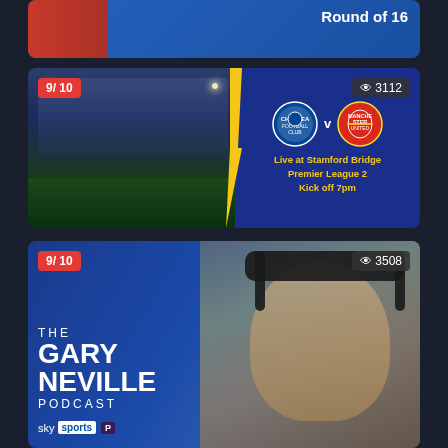[Figure (screenshot): Partial top card showing athlete in red kit with 'Round of 16' text on blue background]
[Figure (screenshot): Chelsea v Manchester United match card: 9/10 rating badge, 3112 views, stadium photo left, team badges right with 'Live at Stamford Bridge, Premier League 2, Kick off 7pm' text in yellow]
[Figure (screenshot): The Gary Neville Podcast card: 9/10 rating badge, 3508 views, photo of Gary Neville with headphones, Sky Sports Premier League branding]